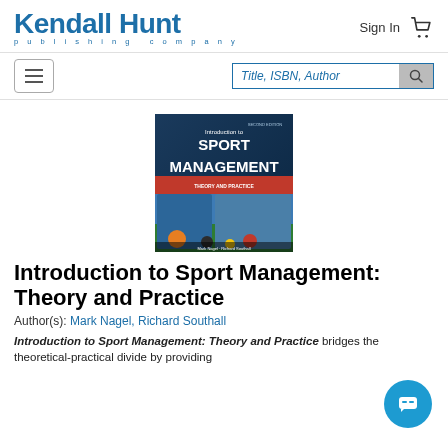Kendall Hunt publishing company
[Figure (screenshot): Kendall Hunt publishing company logo in blue]
[Figure (illustration): Book cover of Introduction to Sport Management: Theory and Practice, Second Edition, showing sports athletes and equipment]
Introduction to Sport Management: Theory and Practice
Author(s): Mark Nagel, Richard Southall
Introduction to Sport Management: Theory and Practice bridges the theoretical-practical divide by providing